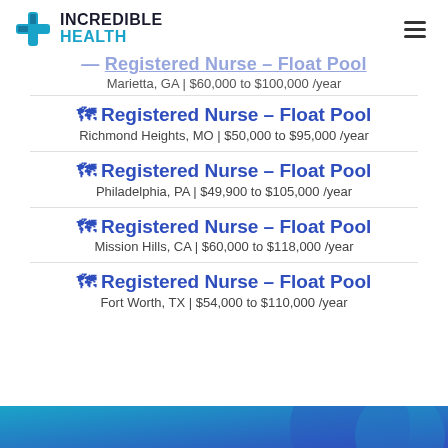Incredible Health
Registered Nurse – Float Pool
Marietta, GA | $60,000 to $100,000 /year
Registered Nurse – Float Pool
Richmond Heights, MO | $50,000 to $95,000 /year
Registered Nurse – Float Pool
Philadelphia, PA | $49,900 to $105,000 /year
Registered Nurse – Float Pool
Mission Hills, CA | $60,000 to $118,000 /year
Registered Nurse – Float Pool
Fort Worth, TX | $54,000 to $110,000 /year
[Figure (other): Blue gradient banner at bottom of page]